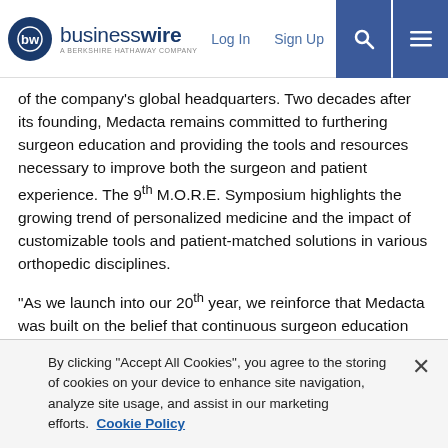businesswire — A BERKSHIRE HATHAWAY COMPANY | Log In | Sign Up
of the company's global headquarters. Two decades after its founding, Medacta remains committed to furthering surgeon education and providing the tools and resources necessary to improve both the surgeon and patient experience. The 9th M.O.R.E. Symposium highlights the growing trend of personalized medicine and the impact of customizable tools and patient-matched solutions in various orthopedic disciplines.
“As we launch into our 20th year, we reinforce that Medacta was built on the belief that continuous surgeon education and hands-on training can and will improve a patient’s experience in orthopedics and positively impact overall healthcare sustainability,” said Francesco Siccardi, Chief Executive Officer of Medacta International. “We are thrilled to host orthopedic surgeons from all
By clicking “Accept All Cookies”, you agree to the storing of cookies on your device to enhance site navigation, analyze site usage, and assist in our marketing efforts.  Cookie Policy